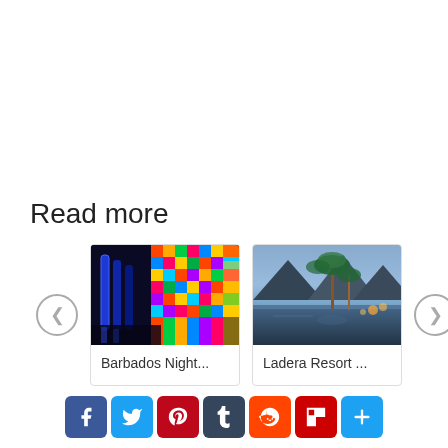Read more
[Figure (photo): Barbados nightlife scene with colorful neon lights]
Barbados Night...
[Figure (photo): Ladera Resort aerial view with palm trees and mountain backdrop at dusk]
Ladera Resort ...
[Figure (infographic): Social sharing buttons: Facebook, Twitter, Pinterest, Tumblr, Reddit, Flipboard, Plus]